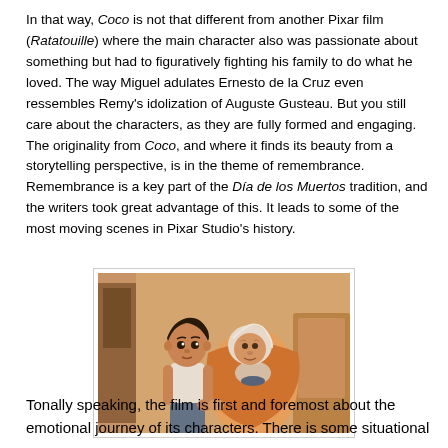In that way, Coco is not that different from another Pixar film (Ratatouille) where the main character also was passionate about something but had to figuratively fighting his family to do what he loved. The way Miguel adulates Ernesto de la Cruz even ressembles Remy's idolization of Auguste Gusteau. But you still care about the characters, as they are fully formed and engaging.
The originality from Coco, and where it finds its beauty from a storytelling perspective, is in the theme of remembrance. Remembrance is a key part of the Día de los Muertos tradition, and the writers took great advantage of this. It leads to some of the most moving scenes in Pixar Studio's history.
[Figure (photo): A still from the Pixar film Coco showing a young boy (Miguel) standing next to an elderly woman (Mamá Coco) who is seated, both in warm amber/terracotta tones.]
Tonally speaking, the film is first and foremost about the emotional journey of its characters. There is some situational